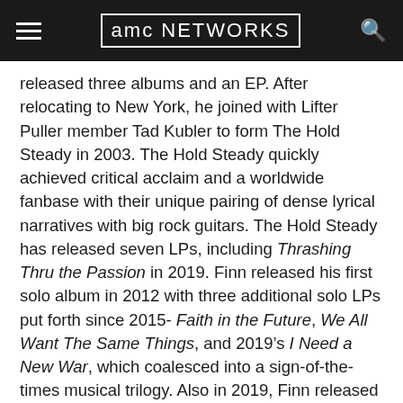AMC NETWORKS
released three albums and an EP. After relocating to New York, he joined with Lifter Puller member Tad Kubler to form The Hold Steady in 2003. The Hold Steady quickly achieved critical acclaim and a worldwide fanbase with their unique pairing of dense lyrical narratives with big rock guitars. The Hold Steady has released seven LPs, including Thrashing Thru the Passion in 2019. Finn released his first solo album in 2012 with three additional solo LPs put forth since 2015- Faith in the Future, We All Want The Same Things, and 2019’s I Need a New War, which coalesced into a sign-of-the-times musical trilogy. Also in 2019, Finn released his first book, a collection of his lyrics titled “I Can’t Keep Saying Thank You.” Pitchfork has described Finn as “a born storyteller, who has chosen rock as his